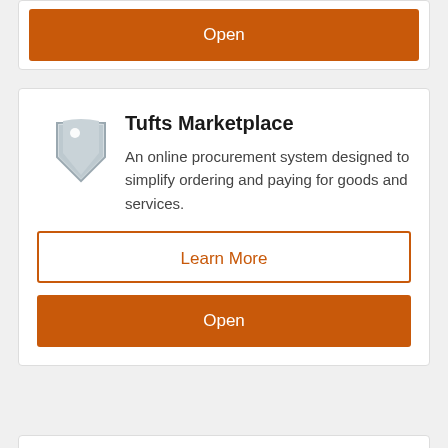[Figure (other): Orange 'Open' button at top of page, part of a card above the visible area]
Tufts Marketplace
An online procurement system designed to simplify ordering and paying for goods and services.
Learn More
Open
TuftsAlert
Emergency alert system providing critical safety